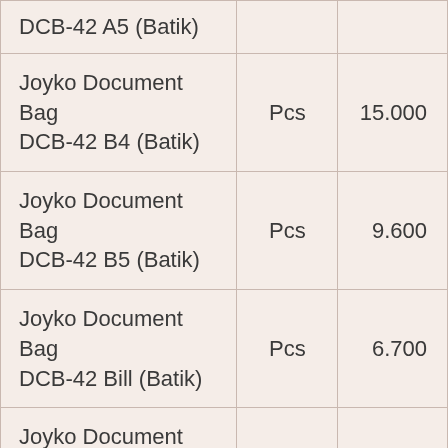| DCB-42 A5 (Batik) |  |  |
| Joyko Document Bag DCB-42 B4 (Batik) | Pcs | 15.000 |
| Joyko Document Bag DCB-42 B5 (Batik) | Pcs | 9.600 |
| Joyko Document Bag DCB-42 Bill (Batik) | Pcs | 6.700 |
| Joyko Document Bag DCB-43 A4 (Penguin) | Pcs | 11.500 |
| Joyko Document Bag DCB-43 A5 (Penguin) | Pcs | 8.000 |
|  |  |  |